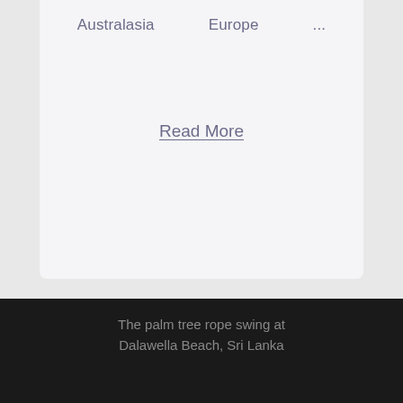Australasia    Europe    ...
Read More
Palm Tree Rope Swing at Dalawella Beach, Sri Lanka – Ultimate Guide!
The palm tree rope swing at Dalawella Beach, Sri Lanka